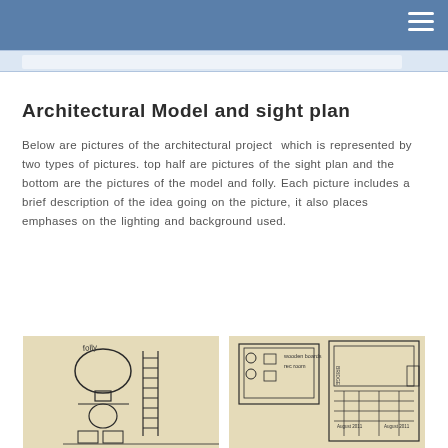Architectural Model and sight plan
Below are pictures of the architectural project which is represented by two types of pictures. top half are pictures of the sight plan and the bottom are the pictures of the model and folly. Each picture includes a brief description of the idea going on the picture, it also places emphases on the lighting and background used.
[Figure (illustration): Hand-drawn architectural sketch showing building elevations and plan views with outline drawings on yellowed paper]
[Figure (illustration): Hand-drawn architectural sight plan with annotations, boxes and circular elements on yellowed paper]